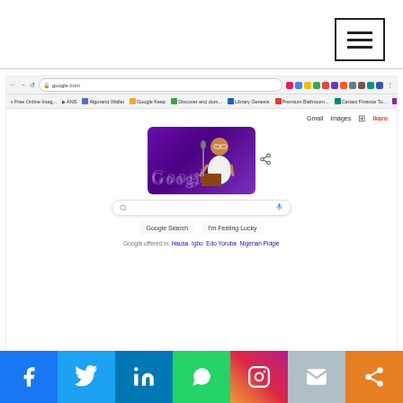[Figure (screenshot): Hamburger menu button (three horizontal lines) in top right corner with black border]
[Figure (screenshot): Screenshot of Google Chrome browser showing Google homepage with a Google Doodle featuring a person with glasses in a purple artistic scene. Browser bar shows google.com URL with bookmarks bar. Google homepage shows search bar, Google Search and I'm Feeling Lucky buttons, and text 'Google offered in: Hausa Igbo Edo Yoruba Nigerian Pidgie']
[Figure (infographic): Social media share bar at bottom with icons for Facebook, Twitter, LinkedIn, WhatsApp, Instagram, Email, and Share]